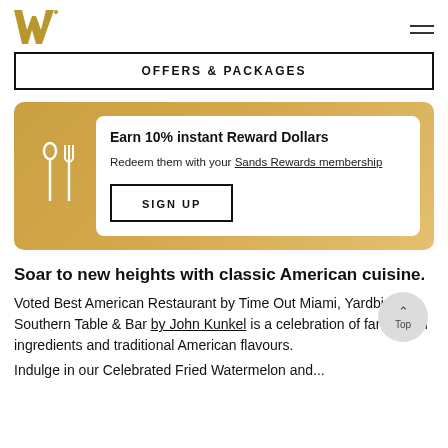The Venetian Resort logo and navigation menu
OFFERS & PACKAGES
[Figure (infographic): Gold rewards card with fork and spoon icon, showing: Earn 10% instant Reward Dollars. Redeem them with your Sands Rewards membership. SIGN UP button.]
Soar to new heights with classic American cuisine.
Voted Best American Restaurant by Time Out Miami, Yardbird Southern Table & Bar by John Kunkel is a celebration of farm-fresh ingredients and traditional American flavours.
...